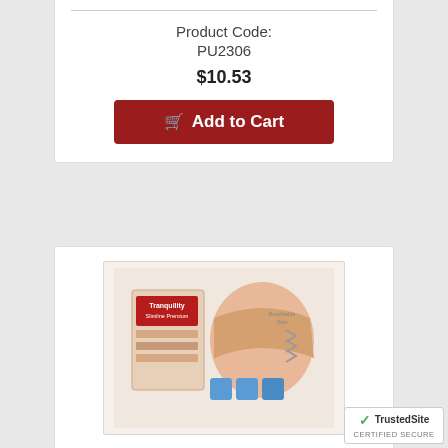Product Code: PU2306
$10.53
[Figure (screenshot): Add to Cart button (dark red/maroon background, white text with cart icon)]
[Figure (photo): Tranquility SlimLine Breathable Brief product photo showing packaging box and adult briefs with blue tab closures]
Tranquility SlimLine Breathable Brief, Heavy, Tab Closure, XLarge - Pack 12
[Figure (logo): TrustedSite CERTIFIED SECURE badge with green checkmark]